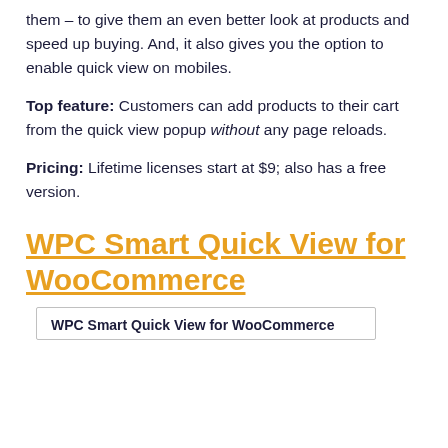them – to give them an even better look at products and speed up buying. And, it also gives you the option to enable quick view on mobiles.
Top feature: Customers can add products to their cart from the quick view popup without any page reloads.
Pricing: Lifetime licenses start at $9; also has a free version.
WPC Smart Quick View for WooCommerce
WPC Smart Quick View for WooCommerce